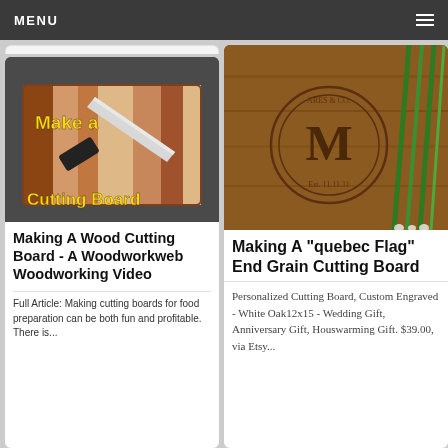MENU
[Figure (photo): Photo of a wooden cutting board with a chef's knife on it, with yellow text overlay reading 'Make a Cutting Board']
Making A Wood Cutting Board - A Woodworkweb Woodworking Video
Full Article: Making cutting boards for food preparation can be both fun and profitable. There is...
[Figure (photo): Photo of a personalized engraved wooden cutting board with a monogram M and green onions beside it]
Making A "quebec Flag" End Grain Cutting Board
Personalized Cutting Board, Custom Engraved - White Oak12x15 - Wedding Gift, Anniversary Gift, Houswarming Gift. $39.00, via Etsy...